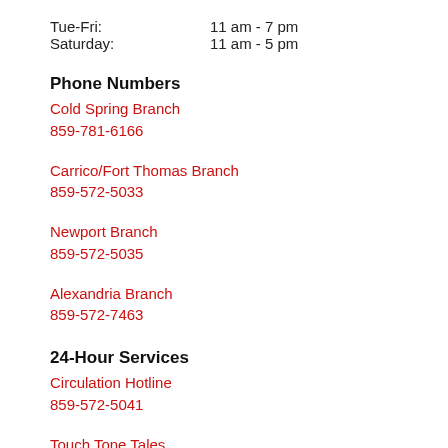Tue-Fri:   11 am - 7 pm
Saturday:   11 am - 5 pm
Phone Numbers
Cold Spring Branch
859-781-6166
Carrico/Fort Thomas Branch
859-572-5033
Newport Branch
859-572-5035
Alexandria Branch
859-572-7463
24-Hour Services
Circulation Hotline
859-572-5041
Touch Tone Tales